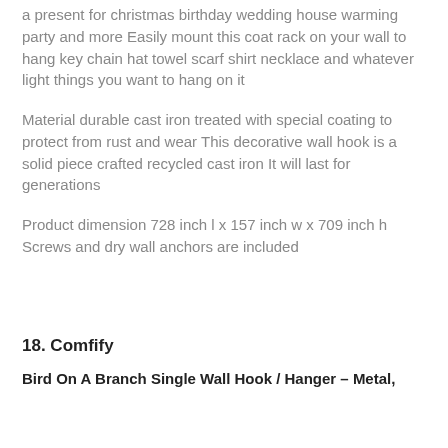a present for christmas birthday wedding house warming party and more Easily mount this coat rack on your wall to hang key chain hat towel scarf shirt necklace and whatever light things you want to hang on it
Material durable cast iron treated with special coating to protect from rust and wear This decorative wall hook is a solid piece crafted recycled cast iron It will last for generations
Product dimension 728 inch l x 157 inch w x 709 inch h Screws and dry wall anchors are included
18. Comfify
Bird On A Branch Single Wall Hook / Hanger – Metal,